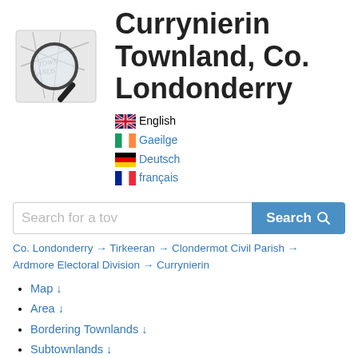[Figure (illustration): A magnifying glass over a map with text TOWN LANDS, pencil/pen nearby, greyscale illustration used as site logo]
Currynierin Townland, Co. Londonderry
English (flag: UK)
Gaeilge (flag: Ireland)
Deutsch (flag: Germany)
français (flag: France)
Search for a tow [Search button]
Co. Londonderry → Tirkeeran → Clondermot Civil Parish → Ardmore Electoral Division → Currynierin
Map ↓
Area ↓
Bordering Townlands ↓
Subtownlands ↓
Records Search ↓